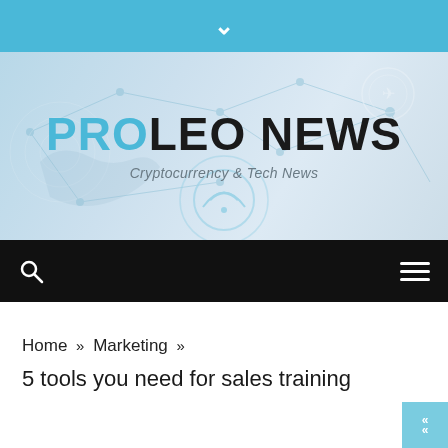[Figure (screenshot): Top blue navigation bar with downward chevron/arrow icon in white]
[Figure (illustration): ProLeo News website banner with tech/network background imagery showing globe, wifi, and connectivity icons. Large bold title 'PROLEO NEWS' with subtitle 'Cryptocurrency & Tech News']
PROLEO NEWS
Cryptocurrency & Tech News
[Figure (screenshot): Black navigation bar with search icon (magnifying glass) on left and hamburger menu icon (three lines) on right]
Home » Marketing » 5 tools you need for sales training
5 tools you need for sales training